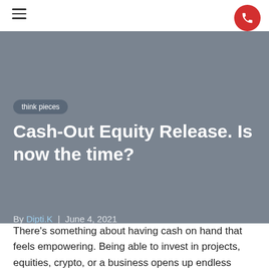[Figure (other): Hamburger menu icon (three horizontal lines) in top left corner]
[Figure (other): Red circular phone/call button in top right corner]
think pieces
Cash-Out Equity Release. Is now the time?
By Dipti.K | June 4, 2021
There's something about having cash on hand that feels empowering. Being able to invest in projects, equities, crypto, or a business opens up endless possibilities. It could be to pay off high-interest debt or taking the family